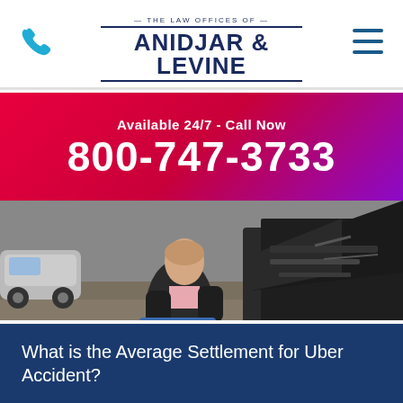THE LAW OFFICES OF ANIDJAR & LEVINE
Available 24/7 - Call Now
800-747-3733
[Figure (photo): Person in a suit writing on a clipboard in front of a damaged vehicle with hood open, at an accident scene]
What is the Average Settlement for Uber Accident?